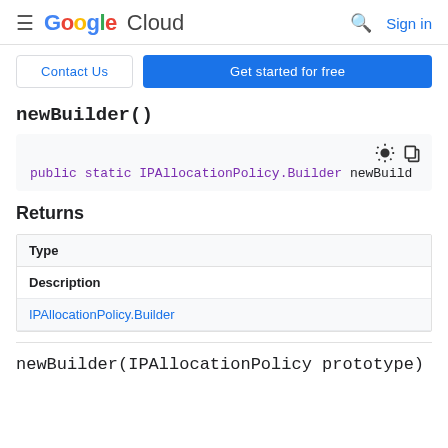Google Cloud  Sign in
Contact Us  Get started for free
newBuilder()
public static IPAllocationPolicy.Builder newBuild
Returns
| Type |
| --- |
| Description |
| IPAllocationPolicy.Builder |
newBuilder(IPAllocationPolicy prototype)